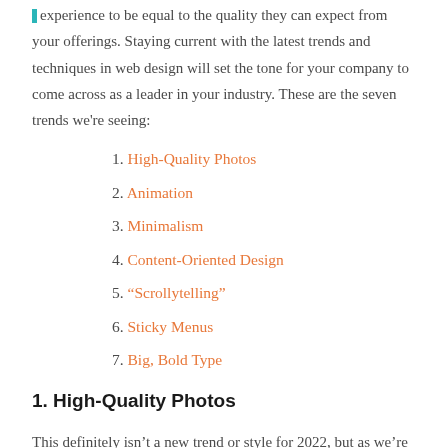experience to be equal to the quality they can expect from your offerings. Staying current with the latest trends and techniques in web design will set the tone for your company to come across as a leader in your industry. These are the seven trends we're seeing:
1. High-Quality Photos
2. Animation
3. Minimalism
4. Content-Oriented Design
5. “Scrollytelling”
6. Sticky Menus
7. Big, Bold Type
1. High-Quality Photos
This definitely isn’t a new trend or style for 2022, but as we’re seeing advances in screen resolution, faster